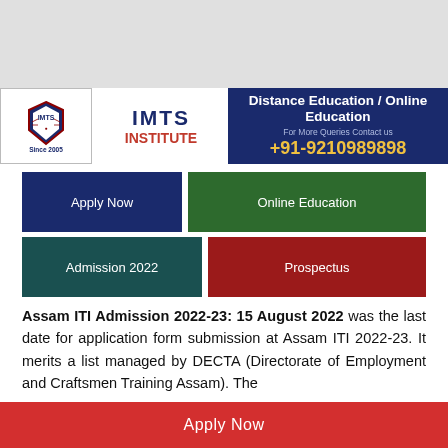[Figure (other): Top gray banner placeholder area]
[Figure (logo): IMTS Institute banner with logo, name, and Distance Education / Online Education contact info. Phone: +91-9210989898]
Apply Now
Online Education
Admission 2022
Prospectus
Assam ITI Admission 2022-23: 15 August 2022 was the last date for application form submission at Assam ITI 2022-23. It merits a list managed by DECTA (Directorate of Employment and Craftsmen Training Assam). The
Apply Now